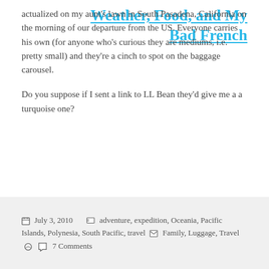actualized on my aunt's lawn in South Pasadena, California on the morning of our departure from the US. Everyone carries his own (for anyone who's curious they are mediums, i.e. pretty small) and they're a cinch to spot on the baggage carousel.
Do you suppose if I sent a link to LL Bean they'd give me a a turquoise one?
Weather, Food, and My Bad French
July 3, 2010   adventure, expedition, Oceania, Pacific Islands, Polynesia, South Pacific, travel   Family, Luggage, Travel   7 Comments